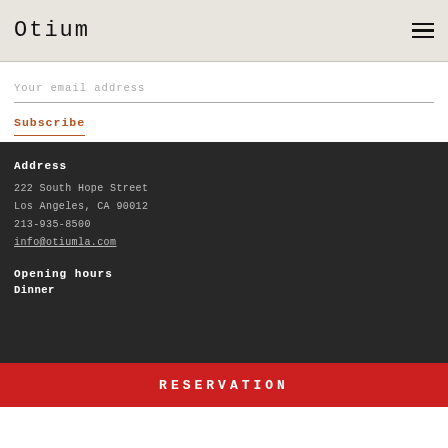Otium
Your email address
Subscribe
Address
222 South Hope Street
Los Angeles, CA 90012
213-935-8500
info@otiumla.com
Opening hours
Dinner
RESERVATION